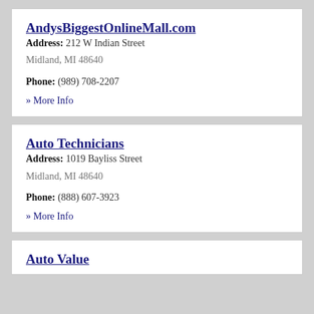AndysBiggestOnlineMall.com
Address: 212 W Indian Street
Midland, MI 48640
Phone: (989) 708-2207
» More Info
Auto Technicians
Address: 1019 Bayliss Street
Midland, MI 48640
Phone: (888) 607-3923
» More Info
Auto Value